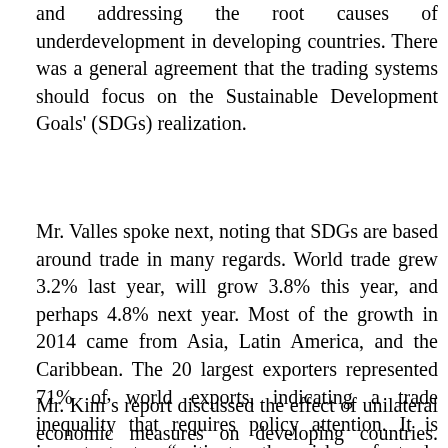and addressing the root causes of underdevelopment in developing countries. There was a general agreement that the trading systems should focus on the Sustainable Development Goals' (SDGs) realization.
Mr. Valles spoke next, noting that SDGs are based around trade in many regards. World trade grew 3.2% last year, will grow 3.8% this year, and perhaps 4.8% next year. Most of the growth in 2014 came from Asia, Latin America, and the Caribbean. The 20 largest exporters represented 71% of world exports, indicating a trade inequality that requires policy attention. It is important to “mitigate the risks of trade adjustment mechanisms, especially for the poor.”
Mr. Kim’s report discussed the effect of unilateral economic measures on developing countries. These